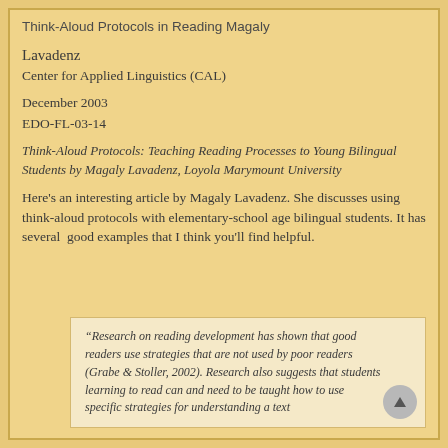Think-Aloud Protocols in Reading Magaly
Lavadenz
Center for Applied Linguistics (CAL)
December 2003
EDO-FL-03-14
Think-Aloud Protocols: Teaching Reading Processes to Young Bilingual Students by Magaly Lavadenz, Loyola Marymount University
Here's an interesting article by Magaly Lavadenz. She discusses using think-aloud protocols with elementary-school age bilingual students. It has several  good examples that I think you'll find helpful.
“Research on reading development has shown that good readers use strategies that are not used by poor readers (Grabe & Stoller, 2002). Research also suggests that students learning to read can and need to be taught how to use specific strategies for understanding a text